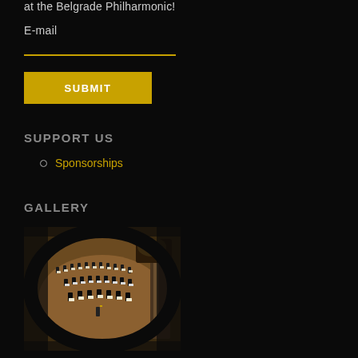at the Belgrade Philharmonic!
E-mail
SUBMIT
SUPPORT US
Sponsorships
GALLERY
[Figure (photo): Fisheye view of Belgrade Philharmonic orchestra performing on stage, musicians seated with sheet music stands, ornate hall visible]